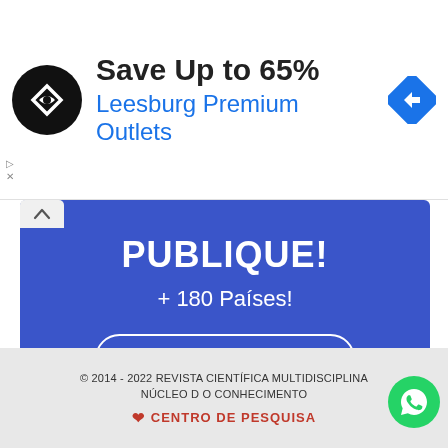[Figure (screenshot): Advertisement banner: logo icon, 'Save Up to 65% Leesburg Premium Outlets' with navigation diamond icon]
[Figure (infographic): Blue promotional banner reading 'PUBLIQUE! + 180 Países!' with 'ENVIAR ARTIGO' button and dot pagination]
© 2014 - 2022 REVISTA CIENTÍFICA MULTIDISCIPLINA NÚCLEO DO CONHECIMENTO
❤ CENTRO DE PESQUISA